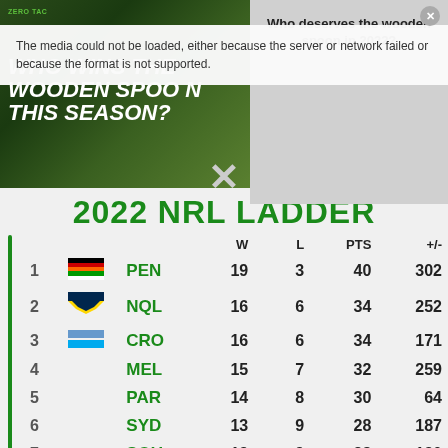[Figure (screenshot): Video thumbnail placeholder with green sports background showing 'WHO WINS THE WOODEN SPOON THIS SEASON?' text overlay]
Who deserves the wooden spoon in 2022?
The media could not be loaded, either because the server or network failed or because the format is not supported.
2022 NRL LADDER
|  |  |  | W | L | PTS | +/- |
| --- | --- | --- | --- | --- | --- | --- |
| 1 | PEN |  | 19 | 3 | 40 | 302 |
| 2 | NQL |  | 16 | 6 | 34 | 252 |
| 3 | CRO |  | 16 | 6 | 34 | 171 |
| 4 | MEL |  | 15 | 7 | 32 | 259 |
| 5 | PAR |  | 14 | 8 | 30 | 64 |
| 6 | SYD |  | 13 | 9 | 28 | 187 |
| 7 | SOU |  | 13 | 9 | 28 | 130 |
| 8 | BRL |  | 13 | 9 | 28 | 21 |